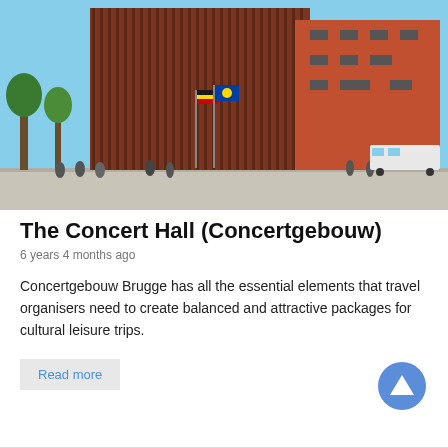[Figure (photo): Exterior photograph of the Concertgebouw (Concert Hall) in Bruges, Belgium. A tall modern building with dark red/brown vertical ribbed facade on the left and a flat red brick building on the right. Blue sky, trees, flags (Belgian and EU), people cycling and walking in front, buses and cars on the street.]
The Concert Hall (Concertgebouw)
6 years 4 months ago
Concertgebouw Brugge has all the essential elements that travel organisers need to create balanced and attractive packages for cultural leisure trips.
Read more